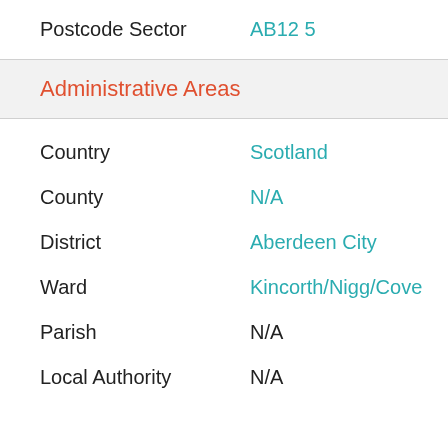Postcode Sector    AB12 5
Administrative Areas
Country    Scotland
County    N/A
District    Aberdeen City
Ward    Kincorth/Nigg/Cove
Parish    N/A
Local Authority    N/A